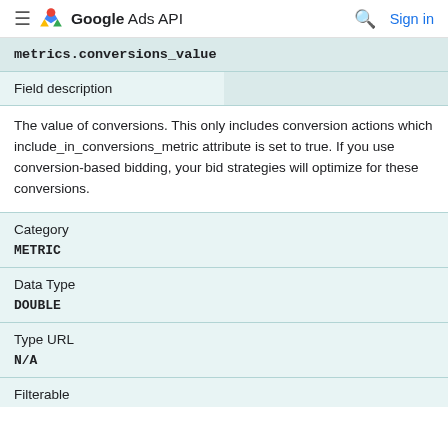Google Ads API  Sign in
| metrics.conversions_value |  |
| Field description |  |
| The value of conversions. This only includes conversion actions which include_in_conversions_metric attribute is set to true. If you use conversion-based bidding, your bid strategies will optimize for these conversions. |  |
| Category |  |
| METRIC |  |
| Data Type |  |
| DOUBLE |  |
| Type URL |  |
| N/A |  |
| Filterable |  |